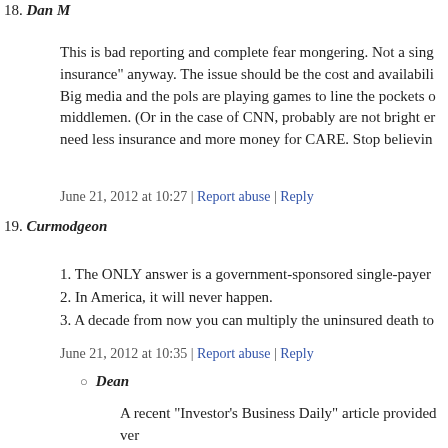18. Dan M
This is bad reporting and complete fear mongering. Not a sing insurance" anyway. The issue should be the cost and availabili Big media and the pols are playing games to line the pockets o middlemen. (Or in the case of CNN, probably are not bright er need less insurance and more money for CARE. Stop believin
June 21, 2012 at 10:27 | Report abuse | Reply
19. Curmodgeon
1. The ONLY answer is a government-sponsored single-payer
2. In America, it will never happen.
3. A decade from now you can multiply the uninsured death to
June 21, 2012 at 10:35 | Report abuse | Reply
Dean
A recent "Investor's Business Daily" article provided ver interesting statistics from a survey by the United Nations Health Organization.
Percentage of men and women who survived a cancer fi after diagnosis:
U.S. 65%